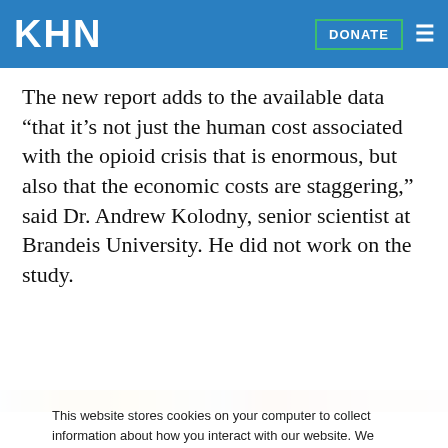KHN | DONATE
The new report adds to the available data “that it’s not just the human cost associated with the opioid crisis that is enormous, but also that the economic costs are staggering,” said Dr. Andrew Kolodny, senior scientist at Brandeis University. He did not work on the study.
[Figure (photo): Partially visible image strip beneath the article text, showing blurred colorful content]
This website stores cookies on your computer to collect information about how you interact with our website. We use this information in order to improve and customize your browsing experience and for analytics and metrics about our visitors both on this website and other media. To find out more about the cookies we use, see our Privacy Policy.
Accept